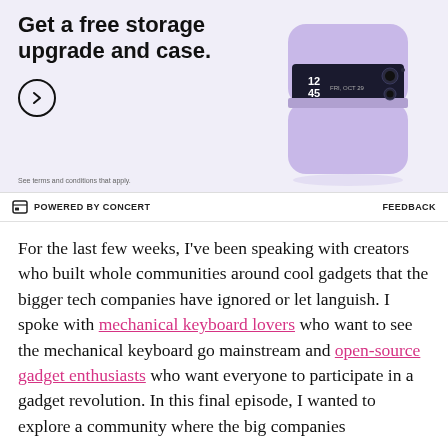[Figure (photo): Samsung Galaxy Z Flip advertisement banner with lavender phone and text 'Get a free storage upgrade and case.' with a circular arrow button and small terms text.]
POWERED BY CONCERT    FEEDBACK
For the last few weeks, I've been speaking with creators who built whole communities around cool gadgets that the bigger tech companies have ignored or let languish. I spoke with mechanical keyboard lovers who want to see the mechanical keyboard go mainstream and open-source gadget enthusiasts who want everyone to participate in a gadget revolution. In this final episode, I wanted to explore a community where the big companies